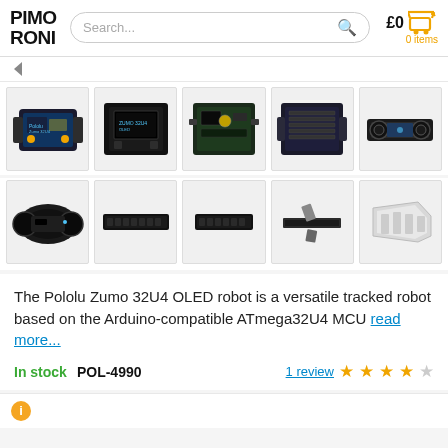PIMORONI — Search... — £0 0 items
[Figure (screenshot): Product thumbnail grid row 1: five images of Pololu Zumo 32U4 OLED robot from different angles — front perspective, top-down with OLED, PCB top view, PCB bottom view, side view]
[Figure (screenshot): Product thumbnail grid row 2: five images — rear perspective, front strip sensor, bottom view, flex cable, metal bracket]
The Pololu Zumo 32U4 OLED robot is a versatile tracked robot based on the Arduino-compatible ATmega32U4 MCU read more...
In stock   POL-4990   1 review ★★★★☆